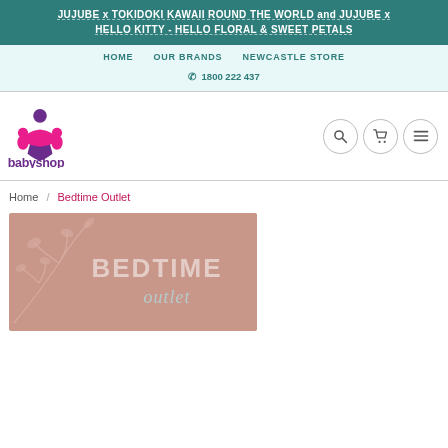JUJUBE x TOKIDOKI KAWAII ROUND THE WORLD and JUJUBE x HELLO KITTY - HELLO FLORAL & SWEET PETALS
HOME  OUR BRANDS  NEWCASTLE STORE
☎ 1800 222 437
[Figure (logo): Babyshop logo: stylized figures of adults and children in pink and purple, with text 'babyshop' below in purple]
[Figure (other): Three circular icon buttons: search (magnifying glass), cart (shopping cart), and menu (hamburger/lines)]
Home / Bedtime Outlet
[Figure (illustration): Bedtime Outlet banner image with dusty rose/mauve background, white floral branch decoration, text 'BEDTIME' in bold white and 'outlet' in teal italic script]